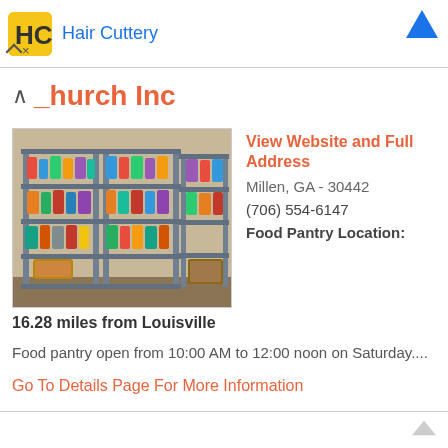Hair Cuttery
Church Inc
[Figure (photo): Interior photo of a food pantry showing metal shelving units stocked with canned goods and other food items]
View Website and Full Address
Millen, GA - 30442
(706) 554-6147
Food Pantry Location: 16.28 miles from Louisville
Food pantry open from 10:00 AM to 12:00 noon on Saturday....
Go To Details Page For More Information